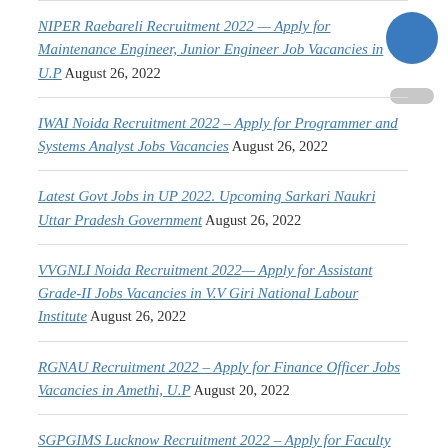NIPER Raebareli Recruitment 2022 — Apply for Maintenance Engineer, Junior Engineer Job Vacancies in U.P August 26, 2022
IWAI Noida Recruitment 2022 – Apply for Programmer and Systems Analyst Jobs Vacancies August 26, 2022
Latest Govt Jobs in UP 2022. Upcoming Sarkari Naukri Uttar Pradesh Government August 26, 2022
VVGNLI Noida Recruitment 2022— Apply for Assistant Grade-II Jobs Vacancies in V.V Giri National Labour Institute August 26, 2022
RGNAU Recruitment 2022 – Apply for Finance Officer Jobs Vacancies in Amethi, U.P August 20, 2022
SGPGIMS Lucknow Recruitment 2022 – Apply for Faculty Jobs Vacancies in U.P August 18, 2022